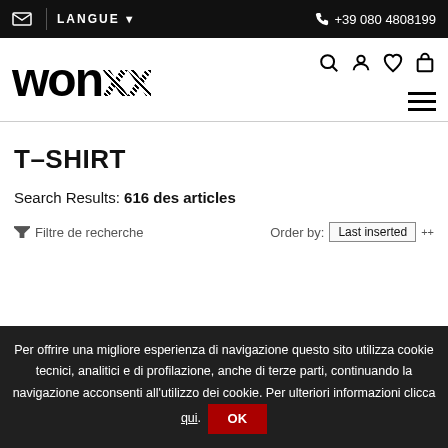✉  |  LANGUE ▾  📞 +39 080 4808199
[Figure (logo): wonxx brand logo in large black bold text with patterned X letters]
T-SHIRT
Search Results: 616 des articles
Filtre de recherche   Order by: Last inserted
Per offrire una migliore esperienza di navigazione questo sito utilizza cookie tecnici, analitici e di profilazione, anche di terze parti, continuando la navigazione acconsenti all'utilizzo dei cookie. Per ulteriori informazioni clicca qui. OK